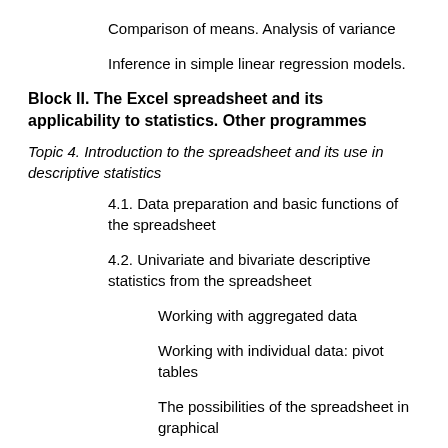Comparison of means. Analysis of variance
Inference in simple linear regression models.
Block II. The Excel spreadsheet and its applicability to statistics. Other programmes
Topic 4. Introduction to the spreadsheet and its use in descriptive statistics
4.1. Data preparation and basic functions of the spreadsheet
4.2. Univariate and bivariate descriptive statistics from the spreadsheet
Working with aggregated data
Working with individual data: pivot tables
The possibilities of the spreadsheet in graphical